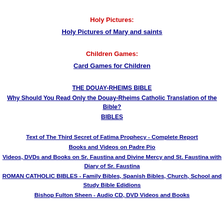Holy Pictures:
Holy Pictures of Mary and saints
Children Games:
Card Games for Children
THE DOUAY-RHEIMS BIBLE
Why Should You Read Only the Douay-Rheims Catholic Translation of the Bible?
BIBLES
Text of The Third Secret of Fatima Prophecy - Complete Report
Books and Videos on Padre Pio
Videos, DVDs and Books on Sr. Faustina and Divine Mercy and St. Faustina with Diary of Sr. Faustina
ROMAN CATHOLIC BIBLES - Family Bibles, Spanish Bibles, Church, School and Study Bible Edidions
Bishop Fulton Sheen - Audio CD, DVD Videos and Books